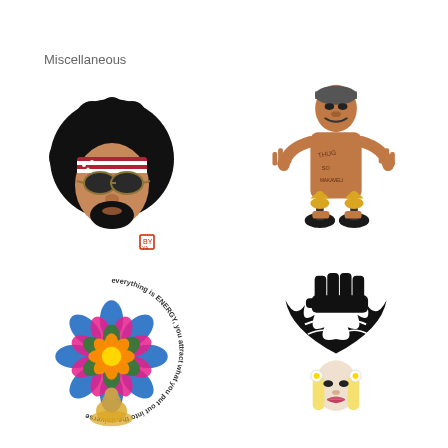Miscellaneous
[Figure (illustration): Illustration of a man with large afro hair, American flag headband, aviator sunglasses, and beard. Small red seal/stamp at bottom right of illustration.]
[Figure (illustration): Illustration of a shirtless rapper (Tupac-style) with tattoos, gold chain, hand gestures, holding Grammy award trophies.]
[Figure (illustration): Colorful mandala/lotus design with circular text reading 'everything is ENERGY, you attract what you put out into the universe' and a seated figure at the bottom.]
[Figure (illustration): Black and white illustration of a woman with long blonde hair and floral accessories, surrounded by large black wild/flame-like hair or figure above.]